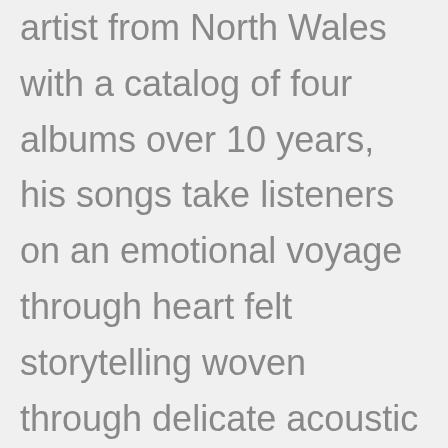artist from North Wales with a catalog of four albums over 10 years, his songs take listeners on an emotional voyage through heart felt storytelling woven through delicate acoustic guitar. A regular on the live circuit, Courteous Thief has supported Catfish And The Bottlemen, Chris